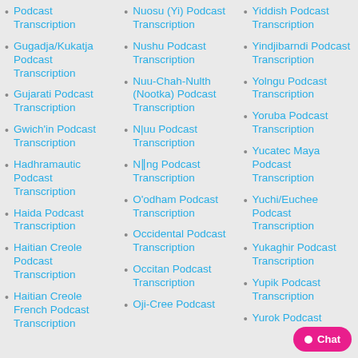Podcast Transcription
Gugadja/Kukatja Podcast Transcription
Gujarati Podcast Transcription
Gwich'in Podcast Transcription
Hadhramautic Podcast Transcription
Haida Podcast Transcription
Haitian Creole Podcast Transcription
Haitian Creole French Podcast Transcription
Nuosu (Yi) Podcast Transcription
Nushu Podcast Transcription
Nuu-Chah-Nulth (Nootka) Podcast Transcription
N|uu Podcast Transcription
N‖ng Podcast Transcription
O'odham Podcast Transcription
Occidental Podcast Transcription
Occitan Podcast Transcription
Oji-Cree Podcast
Yiddish Podcast Transcription
Yindjibarndi Podcast Transcription
Yolngu Podcast Transcription
Yoruba Podcast Transcription
Yucatec Maya Podcast Transcription
Yuchi/Euchee Podcast Transcription
Yukaghir Podcast Transcription
Yupik Podcast Transcription
Yurok Podcast